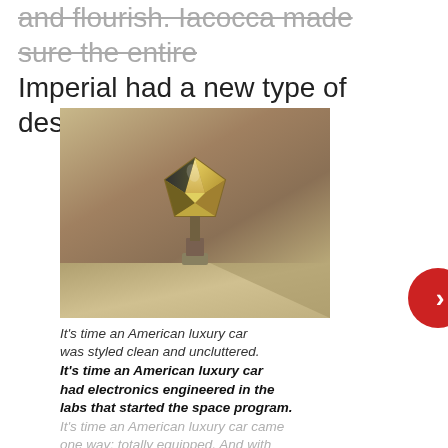and flourish. Iacocca made sure the entire Imperial had a new type of design.
[Figure (photo): Close-up photograph of a Chrysler pentastar hood ornament — a faceted geometric star shape mounted on a pedestal, photographed against a warm golden-brown automotive surface background.]
It's time an American luxury car was styled clean and uncluttered. It's time an American luxury car had electronics engineered in the labs that started the space program. It's time an American luxury car came one way: totally equipped. And with...